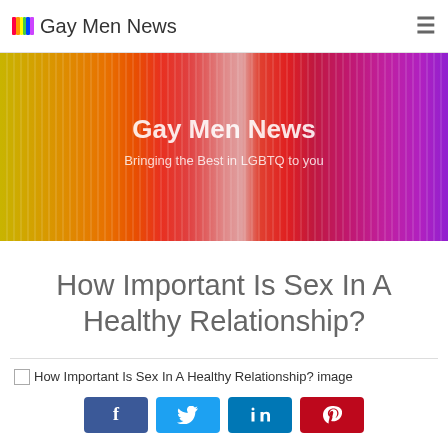Gay Men News
[Figure (illustration): Rainbow-colored vertical stripes banner with overlaid text 'Gay Men News' and subtitle 'Bringing the Best in LGBTQ to you']
How Important Is Sex In A Healthy Relationship?
[Figure (photo): Broken image placeholder: 'How Important Is Sex In A Healthy Relationship? image']
[Figure (infographic): Social share buttons: Facebook, Twitter, LinkedIn, Pinterest]